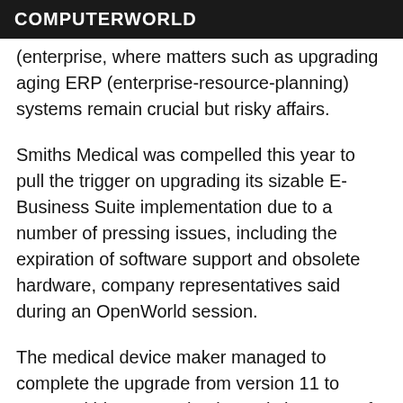COMPUTERWORLD
(enterprise, where matters such as upgrading aging ERP (enterprise-resource-planning) systems remain crucial but risky affairs.
Smiths Medical was compelled this year to pull the trigger on upgrading its sizable E-Business Suite implementation due to a number of pressing issues, including the expiration of software support and obsolete hardware, company representatives said during an OpenWorld session.
The medical device maker managed to complete the upgrade from version 11 to 12.1.3 within 10 months, but only because of extensive planning and practices it put in place, said Smiths Medical Vice President of IT